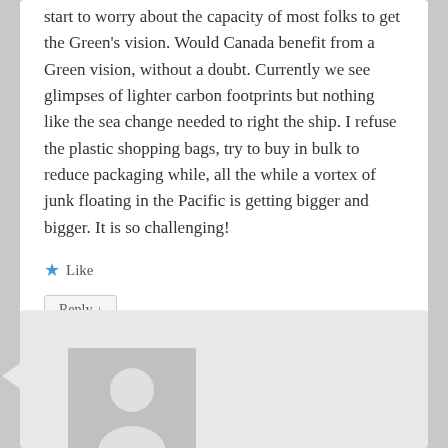start to worry about the capacity of most folks to get the Green's vision. Would Canada benefit from a Green vision, without a doubt. Currently we see glimpses of lighter carbon footprints but nothing like the sea change needed to right the ship. I refuse the plastic shopping bags, try to buy in bulk to reduce packaging while, all the while a vortex of junk floating in the Pacific is getting bigger and bigger. It is so challenging!
★ Like
Reply ↓
JDC on May 17, 2014 at 11:40 pm said: